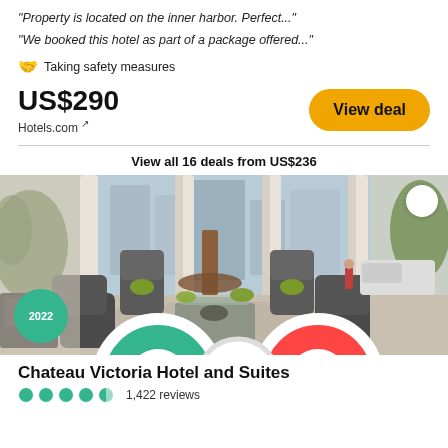"Property is located on the inner harbor. Perfect..."
"We booked this hotel as part of a package offered..."
🤝 Taking safety measures
US$290
Hotels.com ↗
View deal
View all 16 deals from US$236
[Figure (photo): Hotel lobby interior with upholstered armchairs arranged around a glass coffee table, large windows with white curtains, plants, and a view of the street outside. A TripAdvisor 2022 Travelers' Choice badge is visible in the lower left.]
Chateau Victoria Hotel and Suites
1,422 reviews